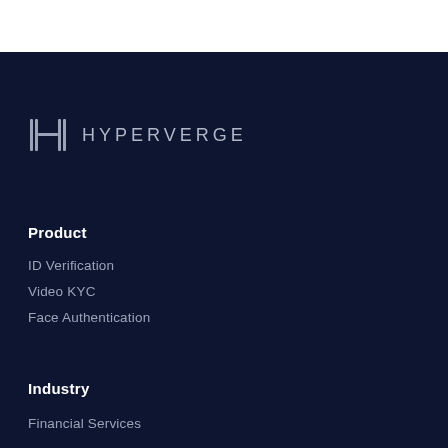[Figure (logo): HyperVerge logo: stylized H icon with double vertical bars and horizontal crossbar, followed by HYPERVERGE text in spaced capital letters]
Product
ID Verification
Video KYC
Face Authentication
Industry
Financial Services